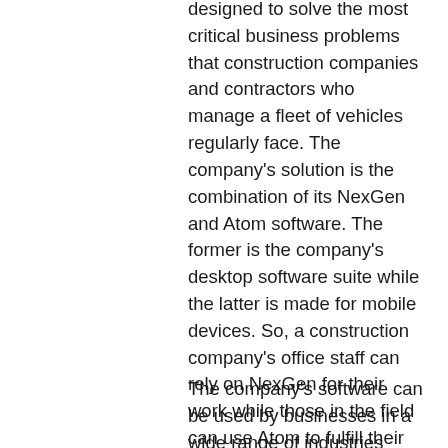designed to solve the most critical business problems that construction companies and contractors who manage a fleet of vehicles regularly face. The company's solution is the combination of its NexGen and Atom software. The former is the company's desktop software suite while the latter is made for mobile devices. So, a construction company's office staff can rely on NexGen for their work while those in the field can use Atom to fulfill their responsibilities. The apps sync information with each other so that each team knows what the other is working on. Each stakeholder always gets the latest, most updated data. This solves the major challenge of coordinating information between disparate teams who work at different locations and often have tangential priorities but need to work on the same underlying data.
The company's software can be used by businesses in a wide range of industries such as crane and heavy equipment rentals,